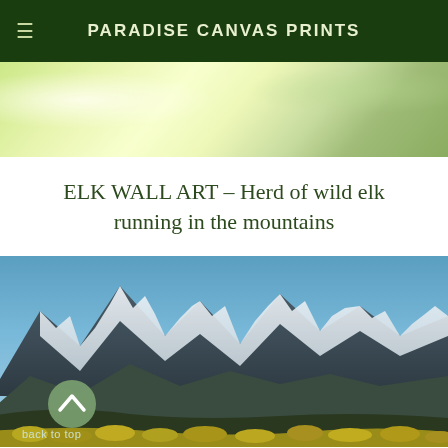PARADISE CANVAS PRINTS
[Figure (illustration): Green nature banner background with soft light and bokeh effect]
ELK WALL ART – Herd of wild elk running in the mountains
[Figure (photo): Snowy mountain peaks with blue sky and golden foliage in the foreground, with a scroll-to-top button and 'back to top' label overlay]